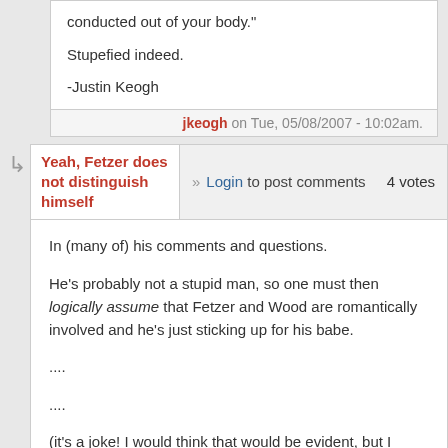conducted out of your body."
Stupefied indeed.
-Justin Keogh
jkeogh on Tue, 05/08/2007 - 10:02am.
Login to post comments   4 votes
Yeah, Fetzer does not distinguish himself
In (many of) his comments and questions.
He's probably not a stupid man, so one must then logically assume that Fetzer and Wood are romantically involved and he's just sticking up for his babe.
....
....
(it's a joke! I would think that would be evident, but I figured I best put in a disclaimer)
----
Senior 9/11 Bureau Chief, Analyst, Correspondent
http://www.chico911truth.org/